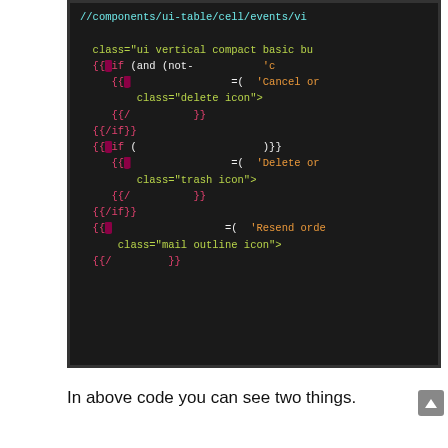[Figure (screenshot): Code editor screenshot showing Handlebars/template code with syntax highlighting on dark background. Shows HTML template code with {{#if}} conditionals, class attributes for delete icon, trash icon, and mail outline icon patterns, with cyan, yellow-green, pink, and orange colored syntax.]
In above code you can see two things.